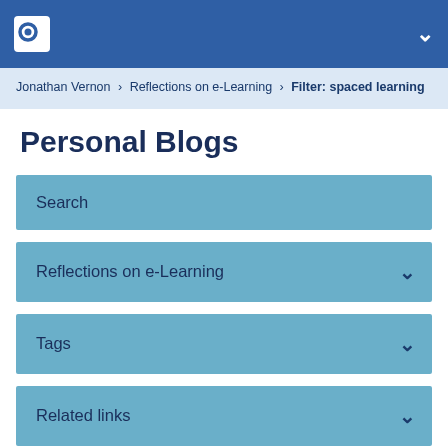Personal Blogs - Open University navigation header
Jonathan Vernon > Reflections on e-Learning > Filter: spaced learning
Personal Blogs
Search
Reflections on e-Learning
Tags
Related links
Blog usage